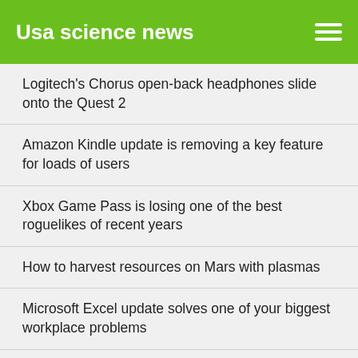Usa science news
Logitech's Chorus open-back headphones slide onto the Quest 2
Amazon Kindle update is removing a key feature for loads of users
Xbox Game Pass is losing one of the best roguelikes of recent years
How to harvest resources on Mars with plasmas
Microsoft Excel update solves one of your biggest workplace problems
Even John Deere tractors aren't safe from